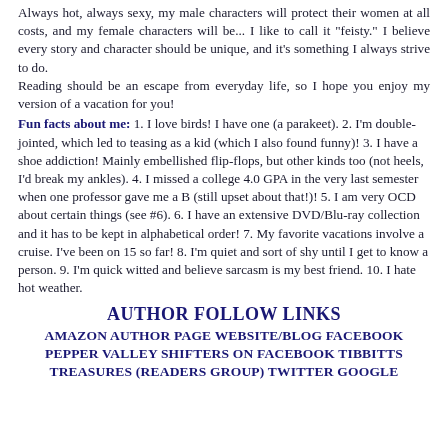Always hot, always sexy, my male characters will protect their women at all costs, and my female characters will be... I like to call it "feisty." I believe every story and character should be unique, and it's something I always strive to do.
Reading should be an escape from everyday life, so I hope you enjoy my version of a vacation for you!
Fun facts about me: 1. I love birds! I have one (a parakeet). 2. I'm double-jointed, which led to teasing as a kid (which I also found funny)! 3. I have a shoe addiction! Mainly embellished flip-flops, but other kinds too (not heels, I'd break my ankles). 4. I missed a college 4.0 GPA in the very last semester when one professor gave me a B (still upset about that!)! 5. I am very OCD about certain things (see #6). 6. I have an extensive DVD/Blu-ray collection and it has to be kept in alphabetical order! 7. My favorite vacations involve a cruise. I've been on 15 so far! 8. I'm quiet and sort of shy until I get to know a person. 9. I'm quick witted and believe sarcasm is my best friend. 10. I hate hot weather.
AUTHOR FOLLOW LINKS
AMAZON AUTHOR PAGE WEBSITE/BLOG FACEBOOK PEPPER VALLEY SHIFTERS ON FACEBOOK TIBBITTS TREASURES (READERS GROUP) TWITTER GOOGLE